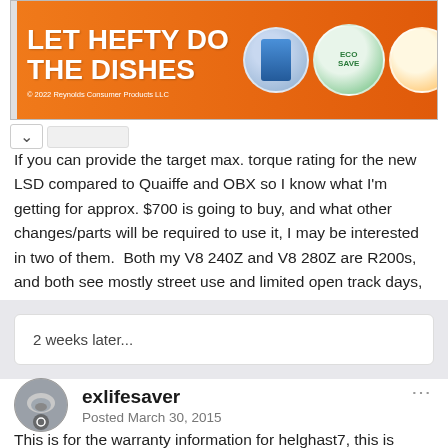[Figure (illustration): Hefty brand advertisement banner with orange gradient background. Text reads 'LET HEFTY DO THE DISHES'. Shows product images and 'SHOP NOW' button. Footer: '© 2022 Reynolds Consumer Products LLC']
If you can provide the target max. torque rating for the new LSD compared to Quaiffe and OBX so I know what I'm getting for approx. $700 is going to buy, and what other changes/parts will be required to use it, I may be interested in two of them.  Both my V8 240Z and V8 280Z are R200s, and both see mostly street use and limited open track days, but getting out of a corner harder/sooner has been always been a priority.
Thanks.
2 weeks later...
exlifesaver
Posted March 30, 2015
This is for the warranty information for helghast7, this is directly